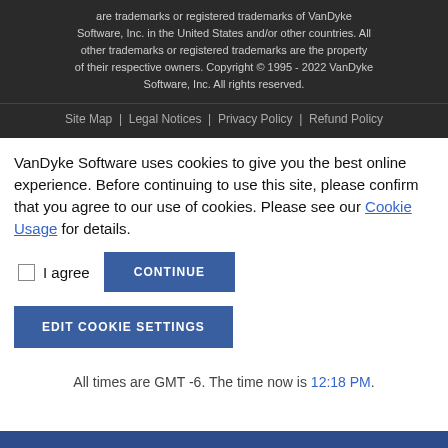are trademarks or registered trademarks of VanDyke Software, Inc. in the United States and/or other countries. All other trademarks or registered trademarks are the property of their respective owners. Copyright © 1995 - 2022 VanDyke Software, Inc. All rights reserved.
Site Map | Legal Notices | Privacy Policy | Refund Policy
VanDyke Software uses cookies to give you the best online experience. Before continuing to use this site, please confirm that you agree to our use of cookies. Please see our Cookie Usage for details.
I agree
CONTINUE
EDIT COOKIE SETTINGS
All times are GMT -6. The time now is 12:18 PM.